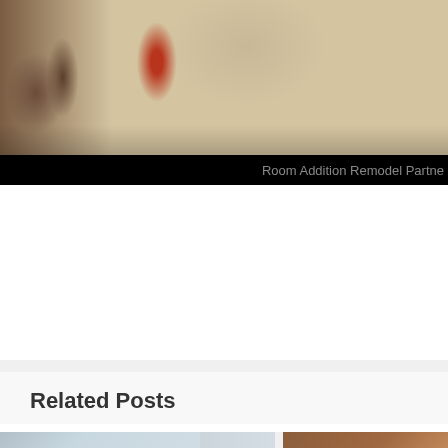[Figure (photo): Interior room photo showing a living area with hardwood floors, a red chair, decorative furniture, candles, and various decor items on a dark counter/table surface]
Room Addition Remodel Partne
Related Posts
[Figure (photo): Exterior photo of a house with white siding]
[Figure (photo): Partial photo with reddish-brown tones, possibly interior room or brick]